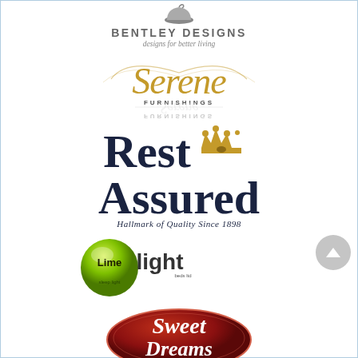[Figure (logo): Bentley Designs logo — bold uppercase text 'BENTLEY DESIGNS' with italic subtitle 'designs for better living' and a partial teapot/cup icon above]
[Figure (logo): Serene Furnishings logo — gold cursive script 'Serene' with 'FURNISHINGS' in small caps below, and a mirrored reflection of the text underneath]
[Figure (logo): Rest Assured logo — large navy serif text 'Rest Assured' with a gold crown icon, and italic tagline 'Hallmark of Quality Since 1898']
[Figure (logo): Lime Light beds ltd logo — green glossy circular badge on left with 'sleep light' text and 'Lime light beds ltd' text to the right]
[Figure (logo): Sweet Dreams logo — dark red oval badge with cursive white script text 'Sweet Dreams']